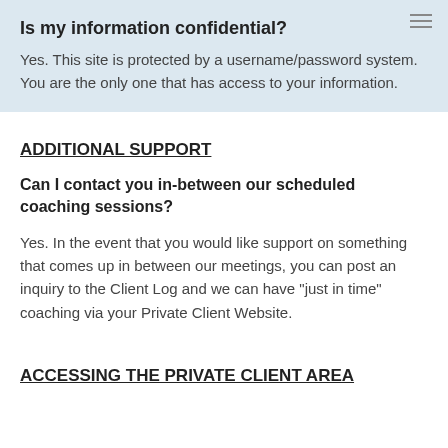Is my information confidential?
Yes. This site is protected by a username/password system. You are the only one that has access to your information.
ADDITIONAL SUPPORT
Can I contact you in-between our scheduled coaching sessions?
Yes. In the event that you would like support on something that comes up in between our meetings, you can post an inquiry to the Client Log and we can have "just in time" coaching via your Private Client Website.
ACCESSING THE PRIVATE CLIENT AREA